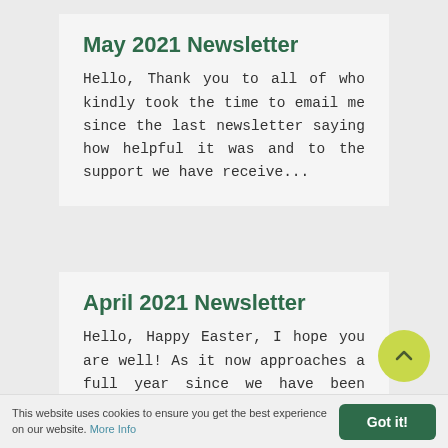May 2021 Newsletter
Hello, Thank you to all of who kindly took the time to email me since the last newsletter saying how helpful it was and to the support we have receive...
April 2021 Newsletter
Hello, Happy Easter, I hope you are well! As it now approaches a full year since we have been living in these emotionally demanding and
This website uses cookies to ensure you get the best experience on our website. More Info